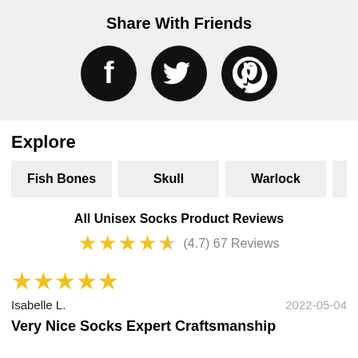Share With Friends
[Figure (illustration): Three black circular social media icons: Facebook (f), Twitter (bird), Pinterest (p)]
Explore
Fish Bones
Skull
Warlock
Folklore
All Unisex Socks Product Reviews
(4.7) 67 Reviews
Isabelle L.
2022-05-04
Very Nice Socks Expert Craftsmanship